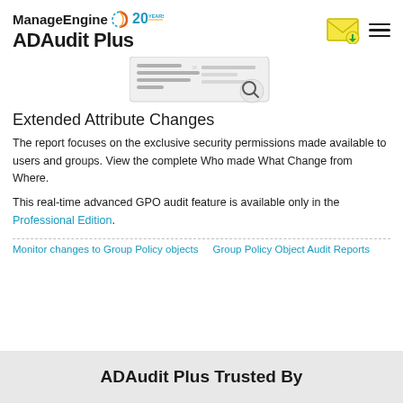ManageEngine 20 YEARS | ADAudit Plus
[Figure (screenshot): Partial screenshot of ADAudit Plus report interface with a search/magnify icon overlay]
Extended Attribute Changes
The report focuses on the exclusive security permissions made available to users and groups. View the complete Who made What Change from Where.
This real-time advanced GPO audit feature is available only in the Professional Edition.
Monitor changes to Group Policy objects   Group Policy Object Audit Reports
ADAudit Plus Trusted By